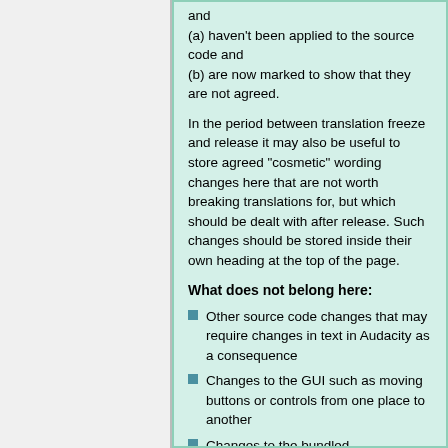and
(a) haven't been applied to the source code and
(b) are now marked to show that they are not agreed.
In the period between translation freeze and release it may also be useful to store agreed "cosmetic" wording changes here that are not worth breaking translations for, but which should be dealt with after release. Such changes should be stored inside their own heading at the top of the page.
What does not belong here:
Other source code changes that may require changes in text in Audacity as a consequence
Changes to the GUI such as moving buttons or controls from one place to another
Changes to the bundled